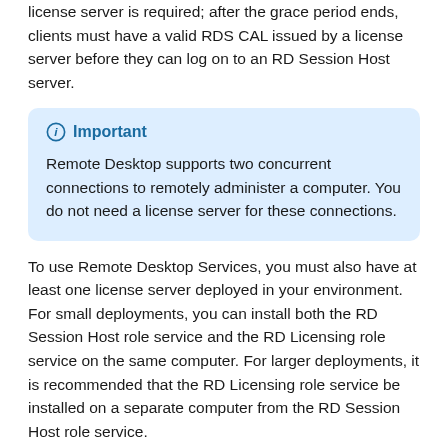license server is required; after the grace period ends, clients must have a valid RDS CAL issued by a license server before they can log on to an RD Session Host server.
Important
Remote Desktop supports two concurrent connections to remotely administer a computer. You do not need a license server for these connections.
To use Remote Desktop Services, you must also have at least one license server deployed in your environment. For small deployments, you can install both the RD Session Host role service and the RD Licensing role service on the same computer. For larger deployments, it is recommended that the RD Licensing role service be installed on a separate computer from the RD Session Host role service.